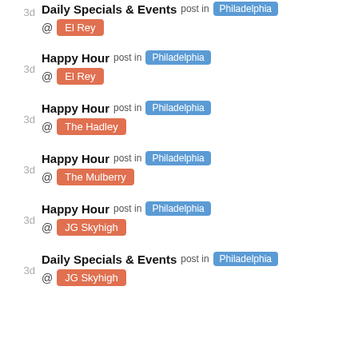3d  Daily Specials & Events  post in  Philadelphia  @  El Rey
3d  Happy Hour  post in  Philadelphia  @  El Rey
3d  Happy Hour  post in  Philadelphia  @  The Hadley
3d  Happy Hour  post in  Philadelphia  @  The Mulberry
3d  Happy Hour  post in  Philadelphia  @  JG Skyhigh
3d  Daily Specials & Events  post in  Philadelphia  @  JG Skyhigh